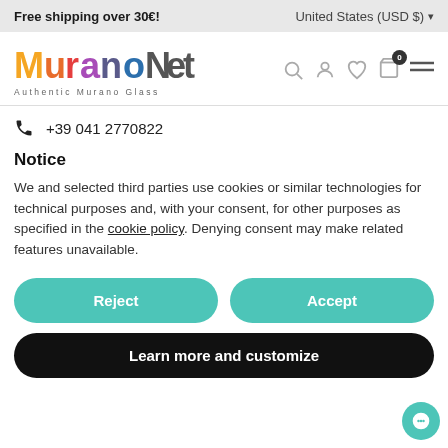Free shipping over 30€! | United States (USD $) ▾
[Figure (logo): MuranoNet - Authentic Murano Glass logo with colorful lettering]
+39 041 2770822
Notice
We and selected third parties use cookies or similar technologies for technical purposes and, with your consent, for other purposes as specified in the cookie policy. Denying consent may make related features unavailable.
Reject
Accept
Learn more and customize